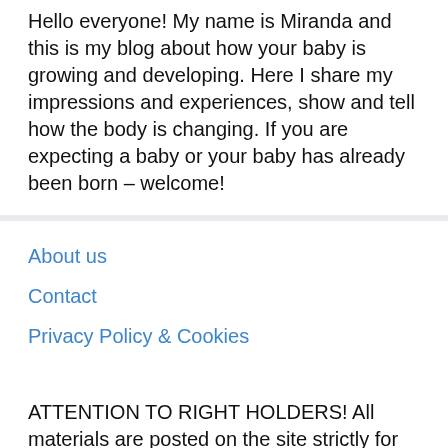Hello everyone! My name is Miranda and this is my blog about how your baby is growing and developing. Here I share my impressions and experiences, show and tell how the body is changing. If you are expecting a baby or your baby has already been born – welcome!
About us
Contact
Privacy Policy & Cookies
ATTENTION TO RIGHT HOLDERS! All materials are posted on the site strictly for informational and educational purposes! If you believe that the posting of any material